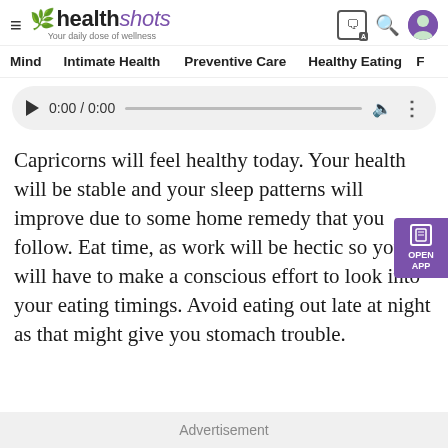healthshots — Your daily dose of wellness
Mind   Intimate Health   Preventive Care   Healthy Eating   F
[Figure (other): Audio player widget showing 0:00 / 0:00 with play button, progress bar, volume and more icons]
Capricorns will feel healthy today. Your health will be stable and your sleep patterns will improve due to some home remedy that you follow. Eat time, as work will be hectic so you will have to make a conscious effort to look into your eating timings. Avoid eating out late at night as that might give you stomach trouble.
Advertisement